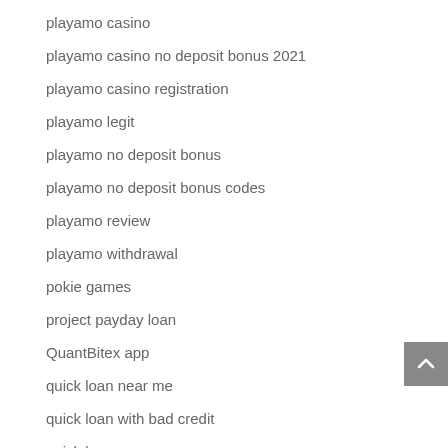playamo casino
playamo casino no deposit bonus 2021
playamo casino registration
playamo legit
playamo no deposit bonus
playamo no deposit bonus codes
playamo review
playamo withdrawal
pokie games
project payday loan
QuantBitex app
quick loan near me
quick loan with bad credit
quick loans near me
quick payday loans online